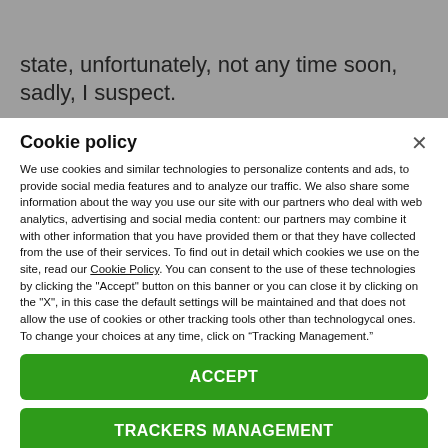state, unfortunately, not any time soon, sadly, I suspect.
Cookie policy
We use cookies and similar technologies to personalize contents and ads, to provide social media features and to analyze our traffic. We also share some information about the way you use our site with our partners who deal with web analytics, advertising and social media content: our partners may combine it with other information that you have provided them or that they have collected from the use of their services. To find out in detail which cookies we use on the site, read our Cookie Policy. You can consent to the use of these technologies by clicking the "Accept" button on this banner or you can close it by clicking on the "X", in this case the default settings will be maintained and that does not allow the use of cookies or other tracking tools other than technologycal ones. To change your choices at any time, click on “Tracking Management.”
ACCEPT
TRACKERS MANAGEMENT
Show vendors | Show purposes